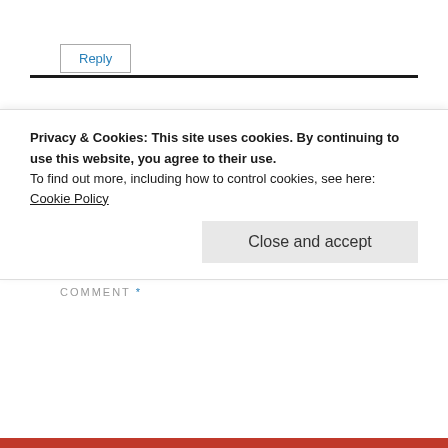Reply
Leave a Reply to jenbug ×
Your email address will not be published. Required fields are marked *
COMMENT *
Privacy & Cookies: This site uses cookies. By continuing to use this website, you agree to their use.
To find out more, including how to control cookies, see here:
Cookie Policy
Close and accept